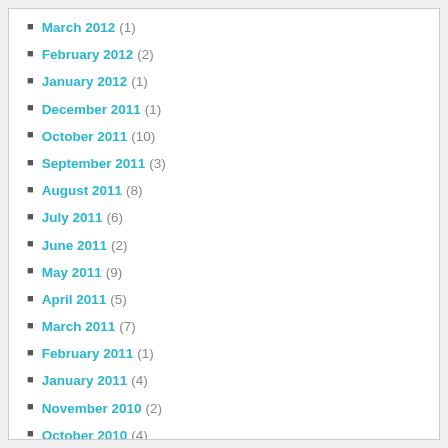March 2012 (1)
February 2012 (2)
January 2012 (1)
December 2011 (1)
October 2011 (10)
September 2011 (3)
August 2011 (8)
July 2011 (6)
June 2011 (2)
May 2011 (9)
April 2011 (5)
March 2011 (7)
February 2011 (1)
January 2011 (4)
November 2010 (2)
October 2010 (4)
September 2010 (2)
August 2010 (1)
July 2010 (1)
April 2010 (1)